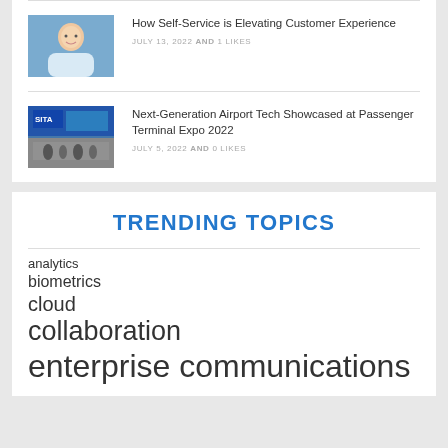[Figure (photo): Person smiling, customer service context]
How Self-Service is Elevating Customer Experience
JULY 13, 2022 AND 1 LIKES
[Figure (photo): SITA trade show booth with crowd at Passenger Terminal Expo]
Next-Generation Airport Tech Showcased at Passenger Terminal Expo 2022
JULY 5, 2022 AND 0 LIKES
TRENDING TOPICS
analytics
biometrics
cloud
collaboration
enterprise communications